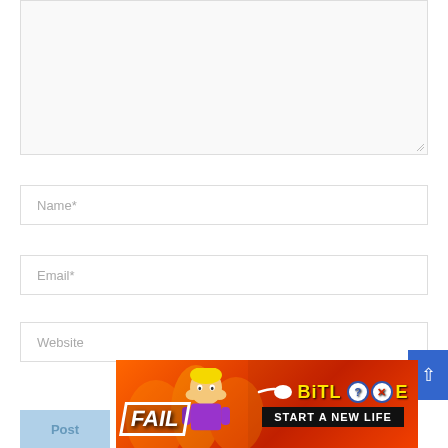[Figure (screenshot): Comment form textarea (empty, with resize handle at bottom right)]
Name*
Email*
Website
[Figure (illustration): BitLife advertisement banner with FAIL text, cartoon character, sperm icon, BitLife logo, help and close buttons, and START A NEW LIFE tagline on red/orange flame background]
Post